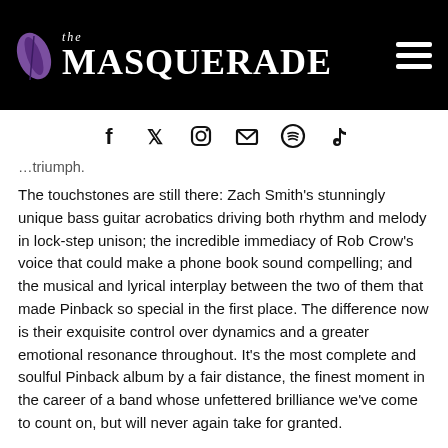the MASQUERADE
[Figure (other): Social media icons row: Facebook, Twitter, Instagram, Email, Spotify, TikTok]
…triumph.
The touchstones are still there: Zach Smith's stunningly unique bass guitar acrobatics driving both rhythm and melody in lock-step unison; the incredible immediacy of Rob Crow's voice that could make a phone book sound compelling; and the musical and lyrical interplay between the two of them that made Pinback so special in the first place. The difference now is their exquisite control over dynamics and a greater emotional resonance throughout. It's the most complete and soulful Pinback album by a fair distance, the finest moment in the career of a band whose unfettered brilliance we've come to count on, but will never again take for granted.